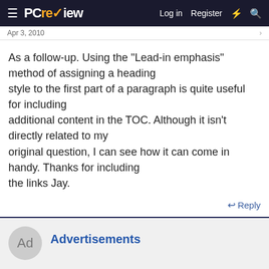PCreview — Log in  Register
Apr 3, 2010
As a follow-up. Using the "Lead-in emphasis" method of assigning a heading style to the first part of a paragraph is quite useful for including additional content in the TOC. Although it isn't directly related to my original question, I can see how it can come in handy. Thanks for including the links Jay.
Reply
Advertisements